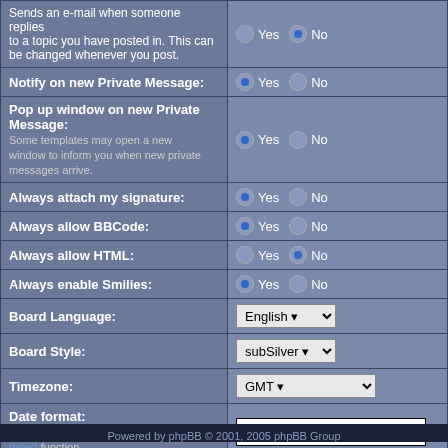| Setting | Value |
| --- | --- |
| Sends an e-mail when someone replies to a topic you have posted in. This can be changed whenever you post. | Yes (No selected) / No (Yes selected) |
| Notify on new Private Message: | Yes (selected) / No |
| Pop up window on new Private Message: Some templates may open a new window to inform you when new private messages arrive. | Yes (selected) / No |
| Always attach my signature: | Yes (selected) / No |
| Always allow BBCode: | Yes (selected) / No |
| Always allow HTML: | Yes / No (selected) |
| Always enable Smilies: | Yes (selected) / No |
| Board Language: | English (dropdown) |
| Board Style: | subSilver (dropdown) |
| Timezone: | GMT (dropdown) |
| Date format: The syntax used is identical to the PHP date() function. | D M d, Y g:i a (text input) |
Submit | Reset
Powered by phpBB © 2001, 2005 phpBB Group